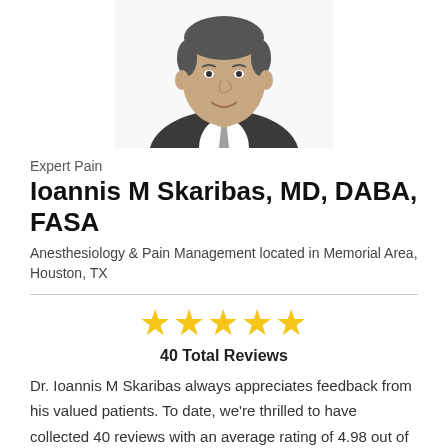[Figure (photo): Professional headshot photo of Dr. Ioannis M Skaribas, a middle-aged man in a dark suit and striped tie, smiling, white background]
Expert Pain
Ioannis M Skaribas, MD, DABA, FASA
Anesthesiology & Pain Management located in Memorial Area, Houston, TX
[Figure (infographic): 5 yellow stars rating display]
40 Total Reviews
Dr. Ioannis M Skaribas always appreciates feedback from his valued patients. To date, we're thrilled to have collected 40 reviews with an average rating of 4.98 out of 5 stars. Please read what others are saying about Dr. Ioannis Skaribas below, and as always, we would love to collect